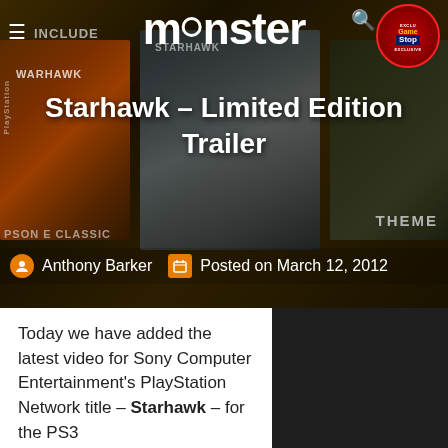[Figure (screenshot): Monster gaming website header with hero image showing Starhawk game covers, Monster logo, hamburger menu, GameStop exclusive badge, and search icon]
Starhawk – Limited Edition Trailer
Anthony Barker  Posted on March 12, 2012
Today we have added the latest video for Sony Computer Entertainment's PlayStation Network title – Starhawk – for the PS3